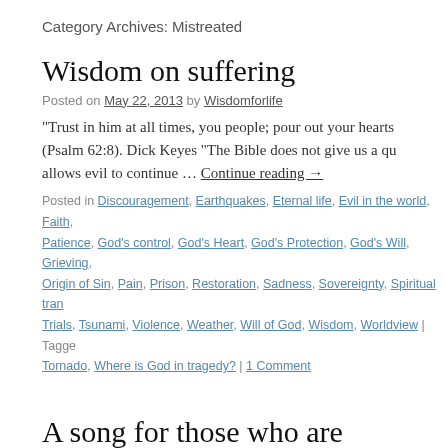Category Archives: Mistreated
Wisdom on suffering
Posted on May 22, 2013 by Wisdomforlife
“Trust in him at all times, you people; pour out your hearts (Psalm 62:8). Dick Keyes “The Bible does not give us a qu allows evil to continue … Continue reading →
Posted in Discouragement, Earthquakes, Eternal life, Evil in the world, Faith, Patience, God’s control, God’s Heart, God’s Protection, God’s Will, Grieving, Origin of Sin, Pain, Prison, Restoration, Sadness, Sovereignty, Spiritual tran Trials, Tsunami, Violence, Weather, Will of God, Wisdom, Worldview | Tagged Tornado, Where is God in tragedy? | 1 Comment
A song for those who are suffering
Posted on May 8, 2013 by Wisdomforlife
“Why?” “The question that is never far away. But healing d